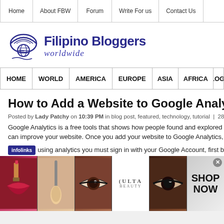Home | About FBW | Forum | Write For us | Contact Us
[Figure (logo): Filipino Bloggers Worldwide logo with globe/dome icon]
HOME | WORLD | AMERICA | EUROPE | ASIA | AFRICA | BLOG D
How to Add a Website to Google Analytic
Posted by Lady Patchy on 10:39 PM in blog post, featured, technology, tutorial | 28 com
Google Analytics is a free tools that shows how people found and explored to you can improve your website. Once you add your website to Google Analytics, you w
using analytics you must sign in with your Google Account, first before
[Figure (photo): Infolinks advertisement banner showing makeup/beauty products and ULTA shop now ad]